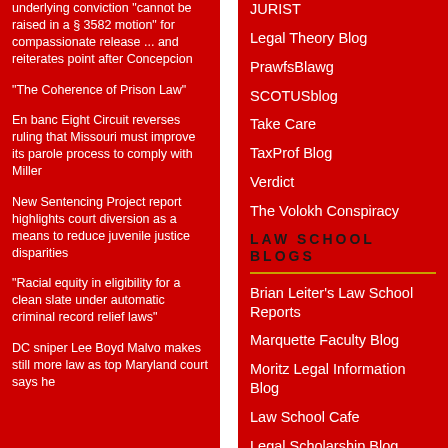underlying conviction "cannot be raised in a § 3582 motion" for compassionate release ... and reiterates point after Concepcion
"The Coherence of Prison Law"
En banc Eight Circuit reverses ruling that Missouri must improve its parole process to comply with Miller
New Sentencing Project report highlights court diversion as a means to reduce juvenile justice disparities
"Racial equity in eligibility for a clean slate under automatic criminal record relief laws"
DC sniper Lee Boyd Malvo makes still more law as top Maryland court says he
JURIST
Legal Theory Blog
PrawfsBlawg
SCOTUSblog
Take Care
TaxProf Blog
Verdict
The Volokh Conspiracy
LAW SCHOOL BLOGS
Brian Leiter's Law School Reports
Marquette Faculty Blog
Moritz Legal Information Blog
Law School Cafe
Legal Scholarship Blog